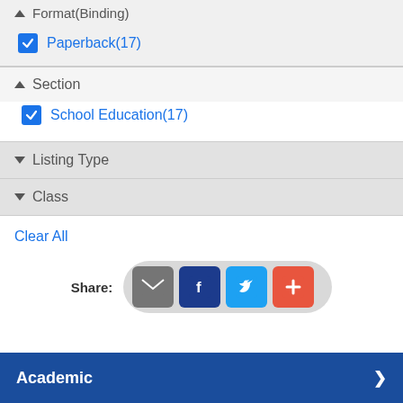▲ Format(Binding)
Paperback(17)
▲ Section
School Education(17)
▼ Listing Type
▼ Class
Clear All
[Figure (infographic): Share buttons row with email, Facebook, Twitter, and plus icons in a pill-shaped container]
Academic >